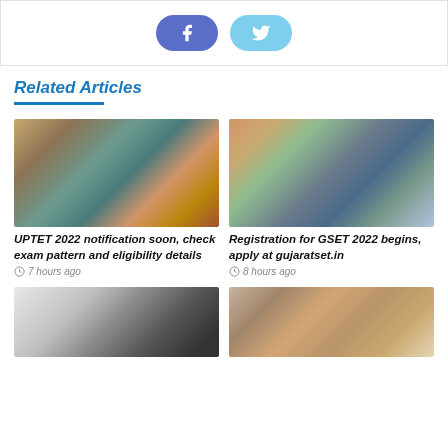[Figure (screenshot): Social share buttons: Facebook (dark blue-purple rounded button with f icon) and Twitter (light blue rounded button with bird icon)]
Related Articles
[Figure (photo): Group of students walking outside, exam scene]
UPTET 2022 notification soon, check exam pattern and eligibility details
7 hours ago
[Figure (photo): Group of students standing, holding papers, exam scene]
Registration for GSET 2022 begins, apply at gujaratset.in
8 hours ago
[Figure (photo): Bihar Public Service Commission logo/sign]
[Figure (photo): Portrait of elderly man and woman]